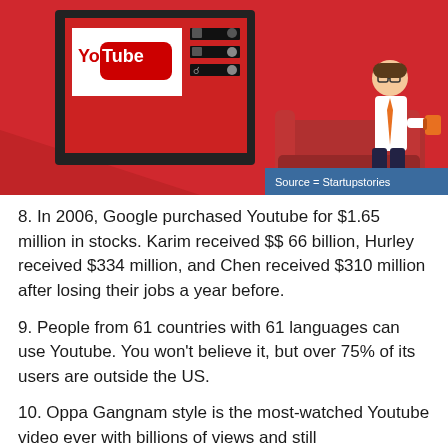[Figure (illustration): YouTube infographic illustration showing a TV/monitor displaying the YouTube logo on a red background, with a couch and a cartoon businessman sitting with a coffee cup. Source credit 'Source = Startupstories' in blue bar at bottom right.]
8. In 2006, Google purchased Youtube for $1.65 million in stocks. Karim received $$ 66 billion, Hurley received $334 million, and Chen received $310 million after losing their jobs a year before.
9. People from 61 countries with 61 languages can use Youtube. You won't believe it, but over 75% of its users are outside the US.
10. Oppa Gangnam style is the most-watched Youtube video ever with billions of views and still